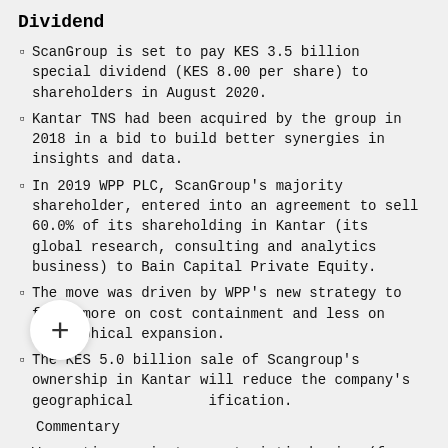Dividend
ScanGroup is set to pay KES 3.5 billion special dividend (KES 8.00 per share) to shareholders in August 2020.
Kantar TNS had been acquired by the group in 2018 in a bid to build better synergies in insights and data.
In 2019 WPP PLC, ScanGroup's majority shareholder, entered into an agreement to sell 60.0% of its shareholding in Kantar (its global research, consulting and analytics business) to Bain Capital Private Equity.
The move was driven by WPP's new strategy to focus more on cost containment and less on geographical expansion.
The KES 5.0 billion sale of Scangroup's ownership in Kantar will reduce the company's geographical diversification.
Commentary
We caution against opportunistic buying (for the